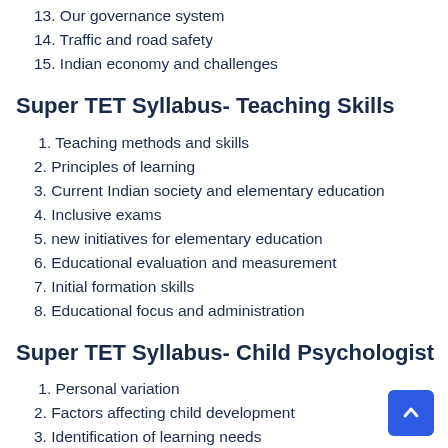13. Our governance system
14. Traffic and road safety
15. Indian economy and challenges
Super TET Syllabus- Teaching Skills
1. Teaching methods and skills
2. Principles of learning
3. Current Indian society and elementary education
4. Inclusive exams
5. new initiatives for elementary education
6. Educational evaluation and measurement
7. Initial formation skills
8. Educational focus and administration
Super TET Syllabus- Child Psychologist
1. Personal variation
2. Factors affecting child development
3. Identification of learning needs
4. Creating environments for reading
5. Theories of learning and their practical utility and use